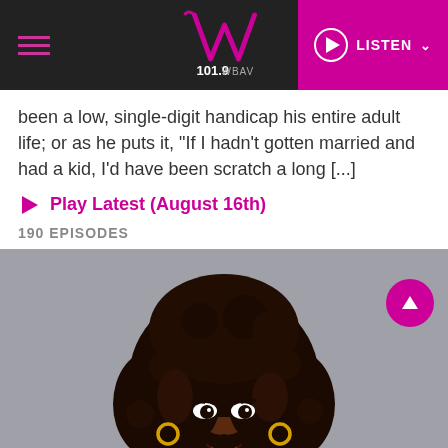V101.9 WBAV — LISTEN
been a low, single-digit handicap his entire adult life; or as he puts it, “If I hadn’t gotten married and had a kid, I’d have been scratch a long […]
Play Latest (August 16th)
190 EPISODES
[Figure (photo): Portrait photo of a woman with large curly dark hair, wearing gold hoop earrings, smiling, on a grey background.]